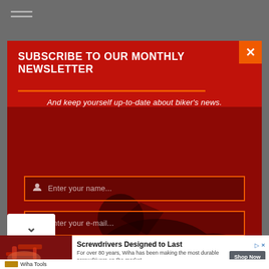[Figure (screenshot): Hamburger menu icon with two horizontal lines in top-left corner of gray background]
SUBSCRIBE TO OUR MONTHLY NEWSLETTER
And keep yourself up-to-date about biker's news.
[Figure (screenshot): Input field with person icon: Enter your name...]
[Figure (screenshot): Input field with envelope icon: Enter your e-mail...]
[Figure (screenshot): Orange SUBSCRIBE NOW! button]
[Figure (screenshot): White chevron-down button on bottom left]
[Figure (screenshot): Advertisement banner: Screwdrivers Designed to Last - Wiha Tools. For over 80 years, Wiha has been making the most durable screwdrivers on the market. Shop Now button.]